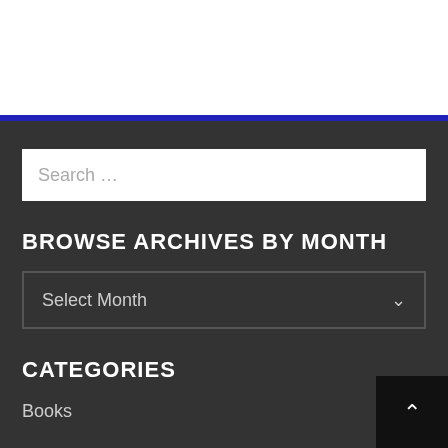Search ...
BROWSE ARCHIVES BY MONTH
Select Month
CATEGORIES
Books